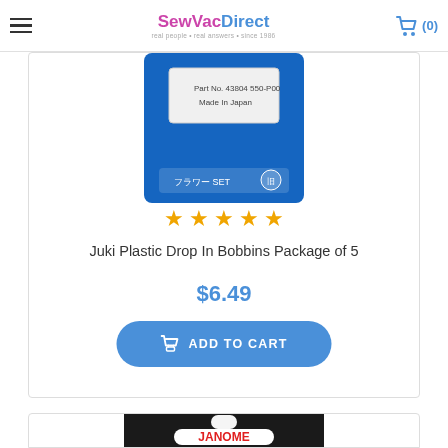SewVacDirect - real people. real answers. since 1986
[Figure (photo): Juki plastic drop-in bobbins product packaging in blue blister pack]
★★★★★
Juki Plastic Drop In Bobbins Package of 5
$6.49
ADD TO CART
[Figure (photo): Janome needles product packaging, black background with JANOME logo in red]